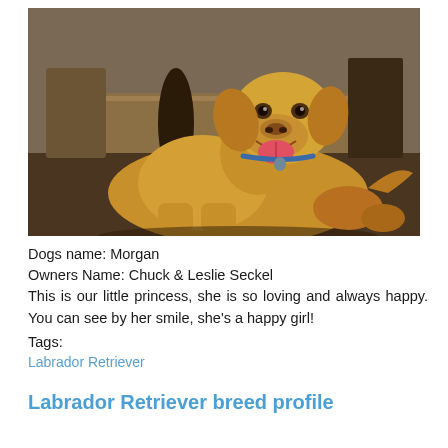[Figure (photo): A golden Labrador Retriever lying on a dark floor, smiling with mouth open, inside a room with wooden furniture in the background. The dog is a light golden/tan color and appears happy.]
Dogs name: Morgan
Owners Name: Chuck & Leslie Seckel
This is our little princess, she is so loving and always happy. You can see by her smile, she's a happy girl!
Tags:
Labrador Retriever
Labrador Retriever breed profile